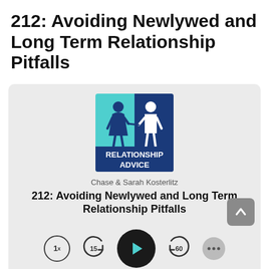212: Avoiding Newlywed and Long Term Relationship Pitfalls
[Figure (screenshot): Podcast player card showing Relationship Advice podcast artwork with Chase & Sarah Kosterlitz, episode title '212: Avoiding Newlywed and Long Term Relationship Pitfalls', and playback controls including 1x speed, skip back 15, play button, skip forward 60, and more options button, plus an up-arrow scroll button.]